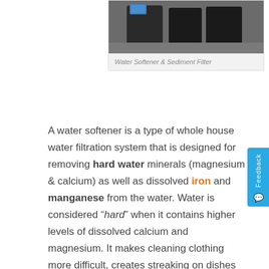[Figure (photo): Photo of a water softener unit and sediment filter equipment on a concrete floor]
Water Softener & Sediment Filter
A water softener is a type of whole house water filtration system that is designed for removing hard water minerals (magnesium & calcium) as well as dissolved iron and manganese from the water. Water is considered “hard” when it contains higher levels of dissolved calcium and magnesium. It makes cleaning clothing more difficult, creates streaking on dishes and glasses, and makes cleaning your hair and skin well a challenge.